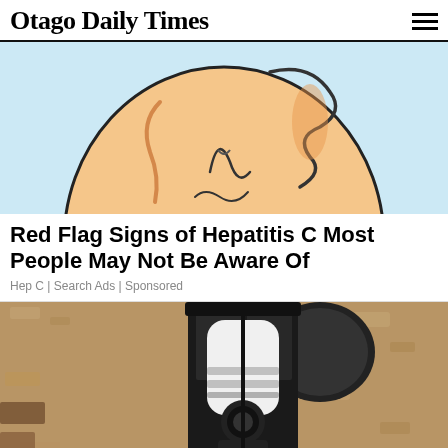Otago Daily Times
[Figure (illustration): Cartoon illustration of a human torso/abdomen on a light blue background, showing stomach area with stylized digestive organs]
Red Flag Signs of Hepatitis C Most People May Not Be Aware Of
Hep C | Search Ads | Sponsored
[Figure (photo): Photograph of a black metal outdoor wall lantern with a white security camera or light bulb inside, mounted on a textured stucco wall]